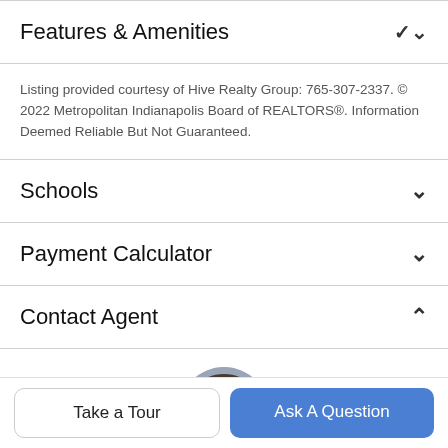Features & Amenities
Listing provided courtesy of Hive Realty Group: 765-307-2337. © 2022 Metropolitan Indianapolis Board of REALTORS®. Information Deemed Reliable But Not Guaranteed.
Schools
Payment Calculator
Contact Agent
[Figure (photo): Circular headshot of a man with short dark hair, smiling, wearing a gray shirt, against a gray background.]
Take a Tour
Ask A Question